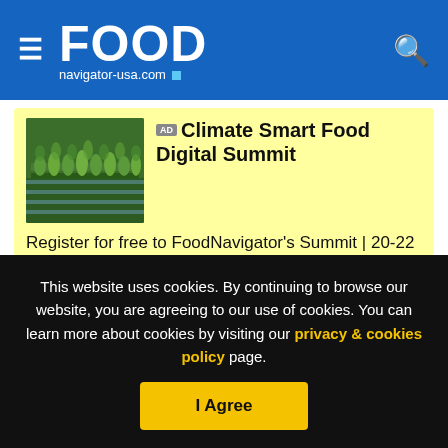FOOD navigator-usa.com
[Figure (other): Advertisement banner for Climate Smart Food Digital Summit with a greenhouse/hydroponic farm image]
Register for free to FoodNavigator's Summit | 20-22 Sept.
The deal, announced Nov. 24, also diversifies Pinnacle's retail base more broadly into the natural channel, where the company traditionally has been under-represented, and
This website uses cookies. By continuing to browse our website, you are agreeing to our use of cookies. You can learn more about cookies by visiting our privacy & cookies policy page.